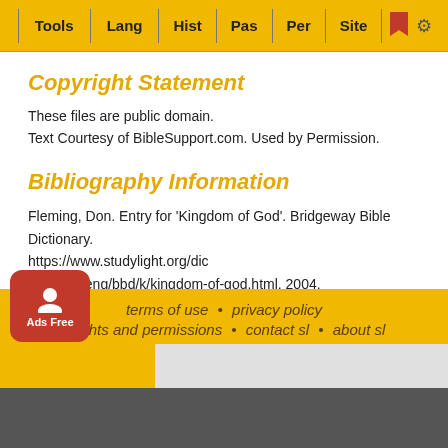Tools  Lang  Hist  Pas  Per  Site
Copyright Statement
These files are public domain.
Text Courtesy of BibleSupport.com. Used by Permission.
Bibliography Information
Fleming, Don. Entry for 'Kingdom of God'. Bridgeway Bible Dictionary. https://www.studylight.org/dic tionaries/eng/bbd/k/kingdom-of-god.html. 2004.
terms of use  •  privacy policy  •  rights and permissions  •  contact sl  •  about sl